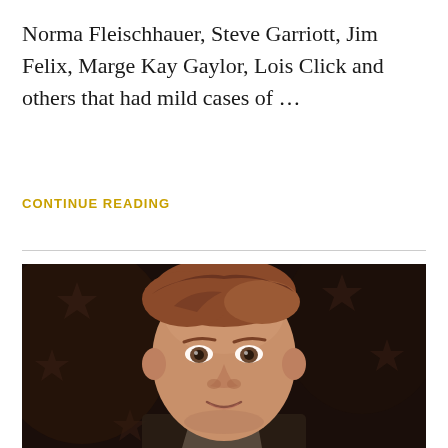Norma Fleischhauer, Steve Garriott, Jim Felix, Marge Kay Gaylor, Lois Click and others that had mild cases of …
CONTINUE READING
[Figure (photo): Portrait photo of a man with reddish-brown hair, smiling slightly, against a dark background with star shapes. Appears to be a formal or ID-style photograph from the 1970s or 1980s.]